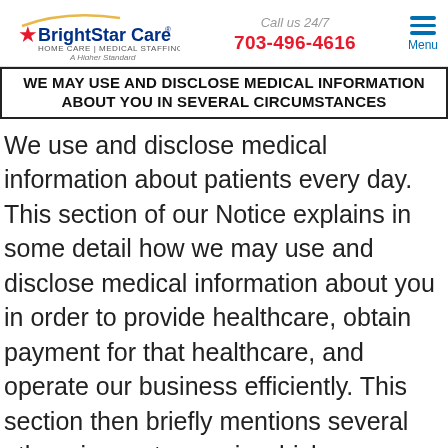BrightStar Care HOME CARE | MEDICAL STAFFING A Higher Standard | Call us 24/7 703-496-4616 | Menu
WE MAY USE AND DISCLOSE MEDICAL INFORMATION ABOUT YOU IN SEVERAL CIRCUMSTANCES
We use and disclose medical information about patients every day. This section of our Notice explains in some detail how we may use and disclose medical information about you in order to provide healthcare, obtain payment for that healthcare, and operate our business efficiently. This section then briefly mentions several other circumstances in which we may use or disclose medical information about